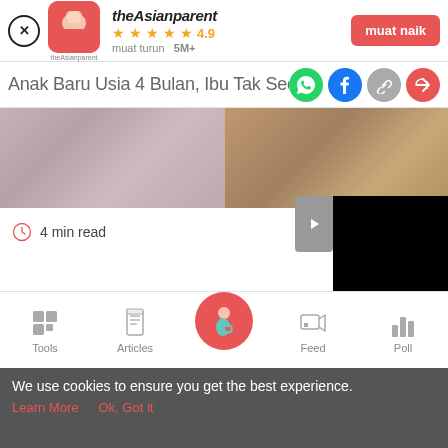[Figure (screenshot): App download banner with theAsianparent logo, 4.9 star rating, 5M+ downloads, and muat naik button]
Anak Baru Usia 4 Bulan, Ibu Tak Sed
[Figure (photo): Hero image showing a baby and a person in two split panels]
4 min read
[Figure (screenshot): Black video player panel with forward arrow]
[Figure (screenshot): Bottom navigation bar with Tools, Articles, home (pregnant woman), Feed, Poll icons]
We use cookies to ensure you get the best experience.
Learn More   Ok, Got it